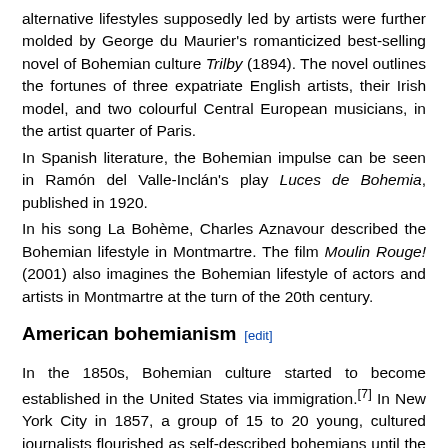alternative lifestyles supposedly led by artists were further molded by George du Maurier's romanticized best-selling novel of Bohemian culture Trilby (1894). The novel outlines the fortunes of three expatriate English artists, their Irish model, and two colourful Central European musicians, in the artist quarter of Paris.
In Spanish literature, the Bohemian impulse can be seen in Ramón del Valle-Inclán's play Luces de Bohemia, published in 1920.
In his song La Bohème, Charles Aznavour described the Bohemian lifestyle in Montmartre. The film Moulin Rouge! (2001) also imagines the Bohemian lifestyle of actors and artists in Montmartre at the turn of the 20th century.
American bohemianism [edit]
In the 1850s, Bohemian culture started to become established in the United States via immigration.[7] In New York City in 1857, a group of 15 to 20 young, cultured journalists flourished as self-described bohemians until the American Civil War began in 1861.[8] This group gathered at a German bar on Broadway called Pfaff's beer cellar.[9] Members included their